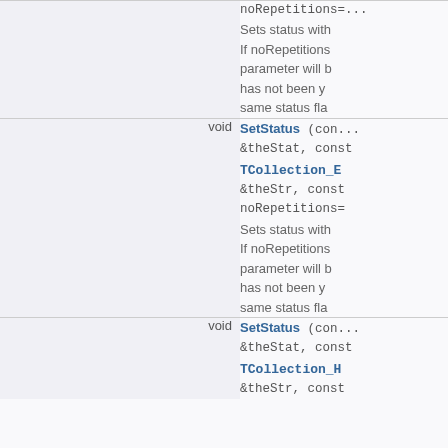| return type | function signature and description |
| --- | --- |
| void | SetStatus (con... &theStat, const TCollection_E... &theStr, const noRepetitions=... Sets status with... If noRepetitions... parameter will b... has not been y... same status fla... |
| void | SetStatus (con... &theStat, const TCollection_H... &theStr, const... |